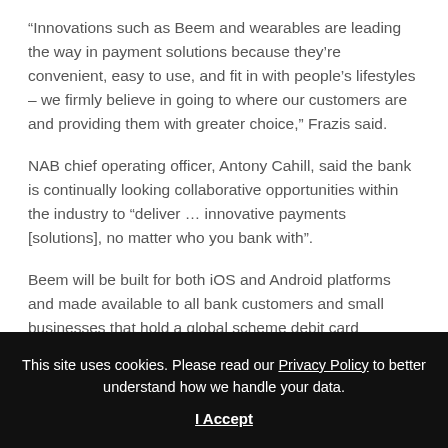“Innovations such as Beem and wearables are leading the way in payment solutions because they’re convenient, easy to use, and fit in with people’s lifestyles – we firmly believe in going to where our customers are and providing them with greater choice,” Frazis said.
NAB chief operating officer, Antony Cahill, said the bank is continually looking collaborative opportunities within the industry to “deliver … innovative payments [solutions], no matter who you bank with”.
Beem will be built for both iOS and Android platforms and made available to all bank customers and small businesses that hold a global scheme debit card
The payment app will not be the last collaboration project between the big four. Future product
This site uses cookies. Please read our Privacy Policy to better understand how we handle your data.
I Accept